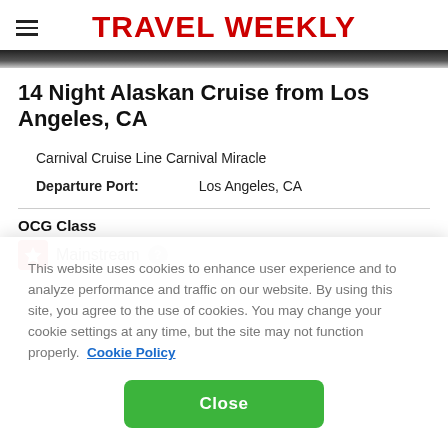TRAVEL WEEKLY
14 Night Alaskan Cruise from Los Angeles, CA
Carnival Cruise Line Carnival Miracle
Departure Port: Los Angeles, CA
OCG Class
Mainstream
This website uses cookies to enhance user experience and to analyze performance and traffic on our website. By using this site, you agree to the use of cookies. You may change your cookie settings at any time, but the site may not function properly.  Cookie Policy
Close